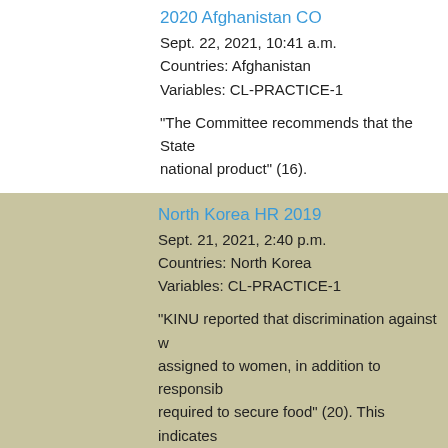2020 Afghanistan CO
Sept. 22, 2021, 10:41 a.m.
Countries: Afghanistan
Variables: CL-PRACTICE-1
"The Committee recommends that the State national product" (16).
North Korea HR 2019
Sept. 21, 2021, 2:40 p.m.
Countries: North Korea
Variables: CL-PRACTICE-1
"KINU reported that discrimination against w assigned to women, in addition to responsib required to secure food" (20). This indicates caring labors (SFR-CODER COMMENT).
Gender Inequality in South Korea-WUNRN
July 9, 2021, 7:11 p.m.
Countries: South Korea
Variables: CL-PRACTICE-1